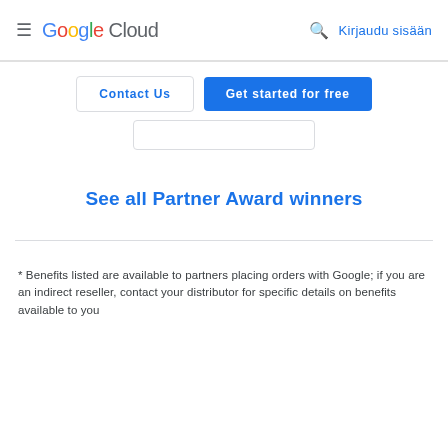≡ Google Cloud  🔍 Kirjaudu sisään
Contact Us
Get started for free
See all Partner Award winners
* Benefits listed are available to partners placing orders with Google; if you are an indirect reseller, contact your distributor for specific details on benefits available to you